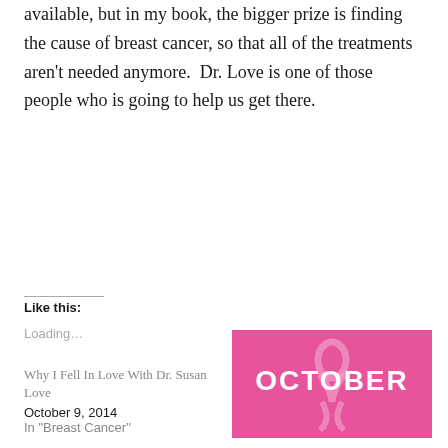available, but in my book, the bigger prize is finding the cause of breast cancer, so that all of the treatments aren't needed anymore.  Dr. Love is one of those people who is going to help us get there.
Like this:
Loading…
Why I Fell In Love With Dr. Susan Love
October 9, 2014
[Figure (illustration): Pink breast cancer awareness October graphic with ribbon motif and text OCTOBER in white letters]
Where I'll Be Donating My Money This October for Breast Cancer Awareness
More…